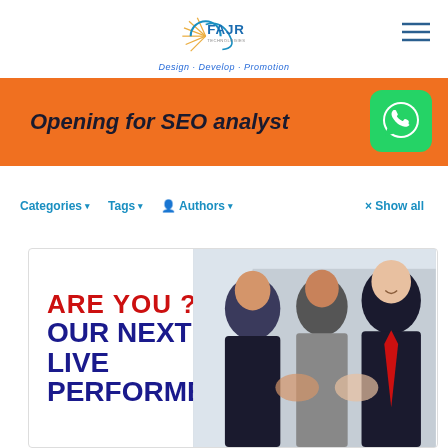FAJR Technologies — Design · Develop · Promotion
Opening for SEO analyst
[Figure (other): WhatsApp contact button (green rounded square with phone icon)]
Categories ▾  Tags ▾  Authors ▾  × Show all
[Figure (other): Job posting card with text 'ARE YOU ? OUR NEXT LIVE PERFORMER' on the left and a photo of three business professionals shaking hands on the right]